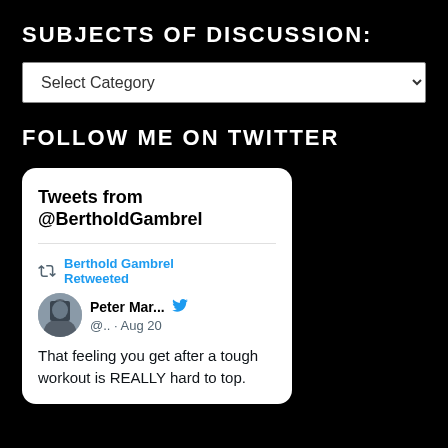SUBJECTS OF DISCUSSION:
[Figure (screenshot): Dropdown select box with label 'Select Category' and a chevron arrow on the right]
FOLLOW ME ON TWITTER
[Figure (screenshot): Twitter widget card showing 'Tweets from @BertholdGambrel'. Contains a retweet by Berthold Gambrel of a tweet by Peter Mar... (@..) dated Aug 20 that reads: 'That feeling you get after a tough workout is REALLY hard to top.']